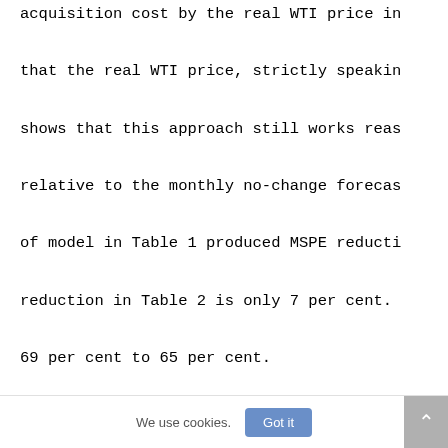acquisition cost by the real WTI price in that the real WTI price, strictly speakin shows that this approach still works reas relative to the monthly no-change forecas of model in Table 1 produced MSPE reducti reduction in Table 2 is only 7 per cent. 69 per cent to 65 per cent.

    An alternative and more appealing to convert the resulting forecasts to the
We use cookies.  Got it